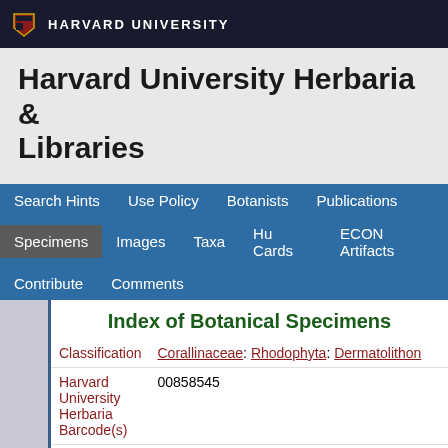HARVARD UNIVERSITY
Harvard University Herbaria & Libraries
Search Hints | Use Policy | Botanists | Publications | Specimens | Images | Taxa | Hu Cards | ECON Artifacts | Contribute | Comments
Index of Botanical Specimens
| Field | Value |
| --- | --- |
| Classification | Corallinaceae: Rhodophyta: Dermatolithon |
| Harvard University Herbaria Barcode(s) | 00858545 |
| Collector | V. F. Schiffner |
| Country | Croatia |
| Geography | Europe: Europe (Region) (Region): Croatia |
| Locality | Adria; Dalmatien; Insel Lissa, an den Hafendammen von L |
| Date | 1928.04.17 |